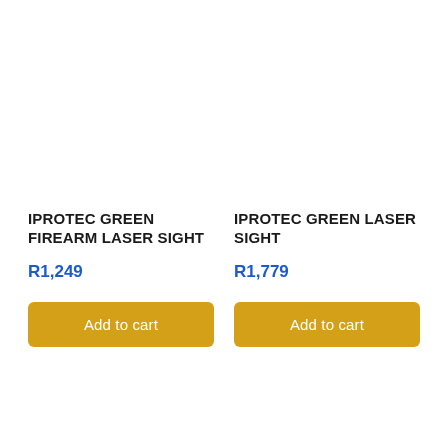IPROTEC GREEN FIREARM LASER SIGHT
R1,249
IPROTEC GREEN LASER SIGHT
R1,779